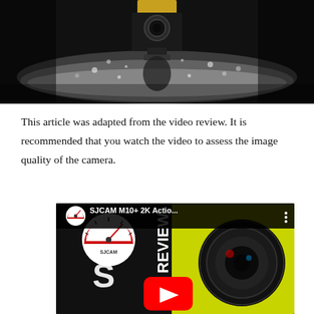[Figure (photo): Close-up photo of an action camera (SJCAM) submerged in water, water splashing around it against a dark background]
This article was adapted from the video review. It is recommended that you watch the video to assess the image quality of the camera.
[Figure (screenshot): YouTube video thumbnail for 'SJCAM M10+ 2K Actio...' showing the SJCAM Reviews logo on the left and a camera lens on the right with a red YouTube play button overlay]